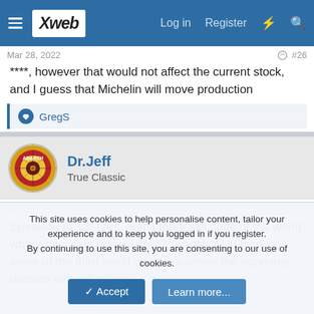Xweb — Log in  Register
Mar 28, 2022  #26
****, however that would not affect the current stock, and I guess that Michelin will move production
👍 GregS
Dr.Jeff
True Classic
Mar 29, 2022  #27
Speaking of 13" tires, aren't there still parts of the world where new cars come with 13" wheels? I'm thinking some of the third world countries where the economy dictates very affordable
This site uses cookies to help personalise content, tailor your experience and to keep you logged in if you register.
By continuing to use this site, you are consenting to our use of cookies.